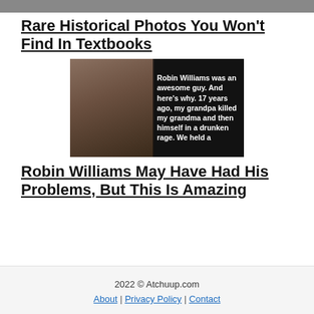[Figure (photo): Cropped top portion of a historical group photo, mostly cut off at top of page]
Rare Historical Photos You Won't Find In Textbooks
[Figure (photo): Thumbnail image of Robin Williams with overlaid text: 'Robin Williams was an awesome guy. And here's why. 17 years ago, my grandpa killed my grandma and then himself in a drunken rage. We held a...' (text cut off)]
Robin Williams May Have Had His Problems, But This Is Amazing
2022 © Atchuup.com | About | Privacy Policy | Contact